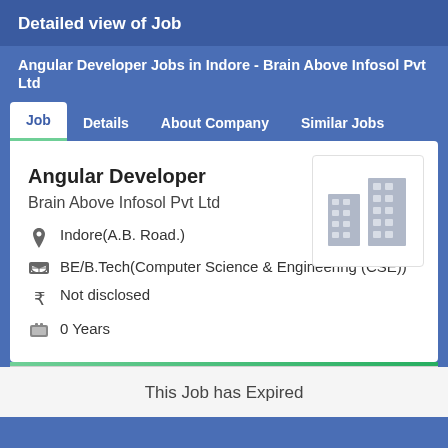Detailed view of Job
Angular Developer Jobs in Indore - Brain Above Infosol Pvt Ltd
Job  Details  About Company  Similar Jobs
Angular Developer
Brain Above Infosol Pvt Ltd
[Figure (illustration): Gray building/office icon representing a company logo placeholder]
Indore(A.B. Road.)
BE/B.Tech(Computer Science & Engineering (CSE))
Not disclosed
0 Years
This Job has Expired